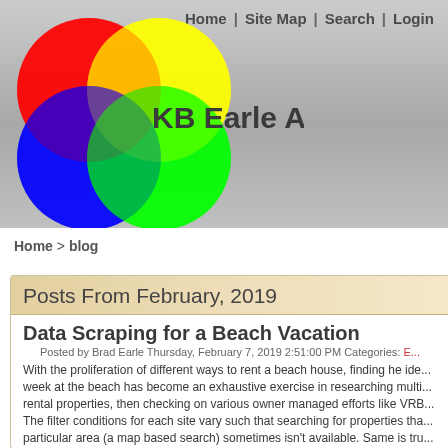Home | Site Map | Search | Login
[Figure (logo): KB Earle Associates LLC logo with overlapping colored circles (red, yellow, blue, green) and site name]
Home > blog
Posts From February, 2019
Data Scraping for a Beach Vacation
Posted by Brad Earle Thursday, February 7, 2019 2:51:00 PM Categories: E...
With the proliferation of different ways to rent a beach house, finding he ideal week at the beach has become an exhaustive exercise in researching multiple rental properties, then checking on various owner managed efforts like VRB... The filter conditions for each site vary such that searching for properties that particular area (a map based search) sometimes isn't available. Same is true site to check on desirable options be it a pool, beach proximity, bedding, gri...
The objective is to scrap the data from the various websites using free tools, those results into a spreadsheet or csv file, then use Tableau for filtering ge... well as for amenities, price, location, etc.